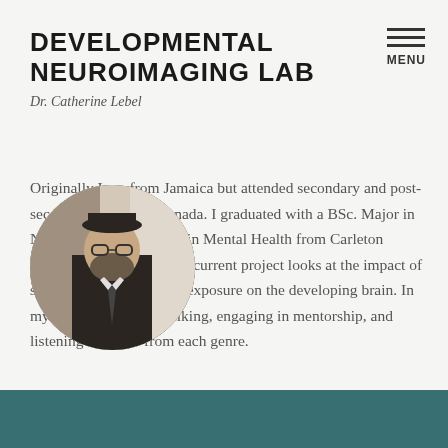DEVELOPMENTAL NEUROIMAGING LAB
Dr. Catherine Lebel
Originally I am from Jamaica but attended secondary and post-secondary school in Canada. I graduated with a BSc. Major in Neuroscience and Minor in Mental Health from Carleton University in Ottawa. My current project looks at the impact of stress and prenatal stress exposure on the developing brain. In my spare time I enjoy hiking, engaging in mentorship, and listening to music from each genre.
[Figure (photo): Circular profile photo of a bearded man wearing glasses and a hat, appears to be in formal attire]